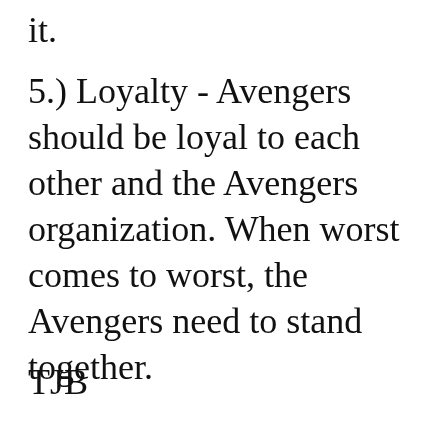it.
5.) Loyalty - Avengers should be loyal to each other and the Avengers organization. When worst comes to worst, the Avengers need to stand together.
TJB